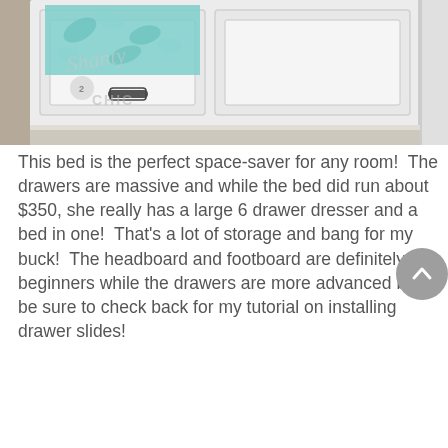[Figure (photo): Close-up photo of a white wooden storage bed with drawers. A drawer is pulled open revealing teal/mint patterned fabric inside. Tan/beige carpet visible on floor. 'Shanty 2 Chic' watermark logo visible in lower left of image.]
This bed is the perfect space-saver for any room!  The drawers are massive and while the bed did run about $350, she really has a large 6 drawer dresser and a bed in one!  That's a lot of storage and bang for my buck!  The headboard and footboard are definitely for beginners while the drawers are more advanced but, be sure to check back for my tutorial on installing drawer slides!